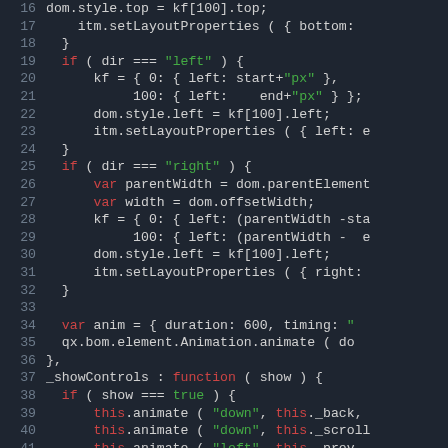[Figure (screenshot): Code editor screenshot showing JavaScript source code lines 16–41 with syntax highlighting on a dark background. Keywords in red, strings in green, regular code in light gray, line numbers in muted blue-gray.]